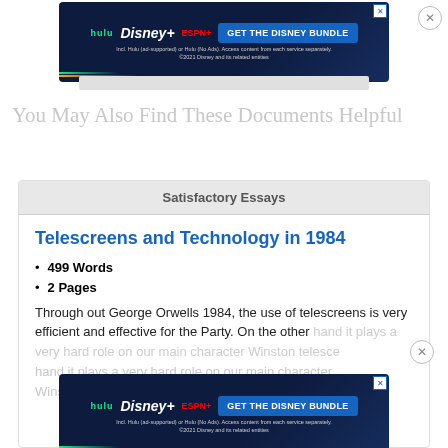[Figure (screenshot): Disney Bundle advertisement banner with Hulu, Disney+, ESPN+ logos and GET THE DISNEY BUNDLE call to action]
You May Also Find These Documents Helpful
Satisfactory Essays
Telescreens and Technology in 1984
499 Words
2 Pages
Through out George Orwells 1984, the use of telescreens is very efficient and effective for the Party. On the other hand it plays a very hard role on our main character Winston. Wants to drain away taken by the mighty power that is the Party all the loyalty that the telescreens...
[Figure (screenshot): Disney Bundle advertisement banner with Hulu, Disney+, ESPN+ logos and GET THE DISNEY BUNDLE call to action (bottom)]